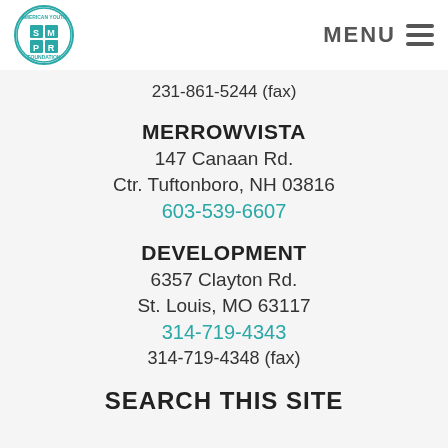[Figure (logo): American Youth Foundation logo — teal circular badge with S, P, M, R letters in grid]
MENU
231-861-5244 (fax)
MERROWVISTA
147 Canaan Rd.
Ctr. Tuftonboro, NH 03816
603-539-6607
DEVELOPMENT
6357 Clayton Rd.
St. Louis, MO 63117
314-719-4343
314-719-4348 (fax)
SEARCH THIS SITE